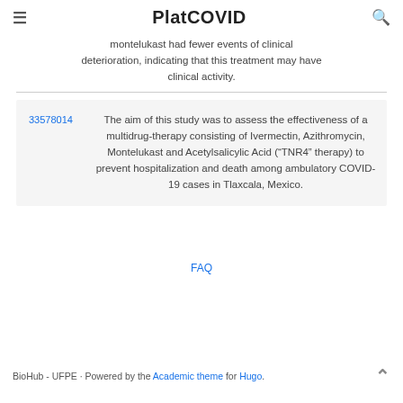PlatCOVID
montelukast had fewer events of clinical deterioration, indicating that this treatment may have clinical activity.
| ID | Abstract |
| --- | --- |
| 33578014 | The aim of this study was to assess the effectiveness of a multidrug-therapy consisting of Ivermectin, Azithromycin, Montelukast and Acetylsalicylic Acid (“TNR4” therapy) to prevent hospitalization and death among ambulatory COVID-19 cases in Tlaxcala, Mexico. |
FAQ
BioHub - UFPE · Powered by the Academic theme for Hugo.